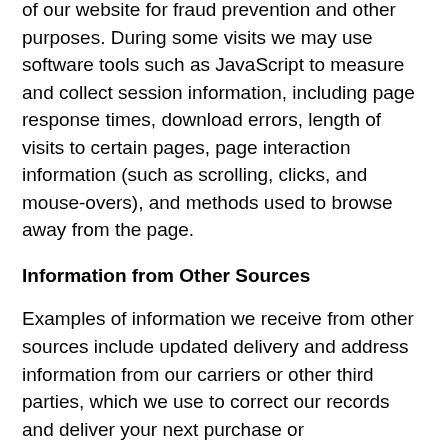of our website for fraud prevention and other purposes. During some visits we may use software tools such as JavaScript to measure and collect session information, including page response times, download errors, length of visits to certain pages, page interaction information (such as scrolling, clicks, and mouse-overs), and methods used to browse away from the page.
Information from Other Sources
Examples of information we receive from other sources include updated delivery and address information from our carriers or other third parties, which we use to correct our records and deliver your next purchase or communication more easily; account information, purchase or redemption information, and page-view information from some merchants with which we operate co-branded businesses or for which we provide technical, fulfillment, advertising, or other services; search term and search result information from some searches conducted through the website search features